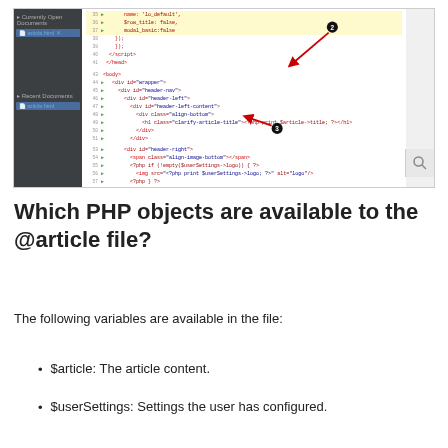[Figure (screenshot): IDE/editor screenshot showing PHP template code with HTML structure. Two numbered callouts (2 and 3) with red arrows pointing to specific lines of code. Left sidebar shows 'Currently Open Documents' and 'Recent Documents' panels with 'article.html' listed. A search icon is visible at bottom right.]
Which PHP objects are available to the @article file?
The following variables are available in the file:
$article: The article content.
$userSettings: Settings the user has configured.